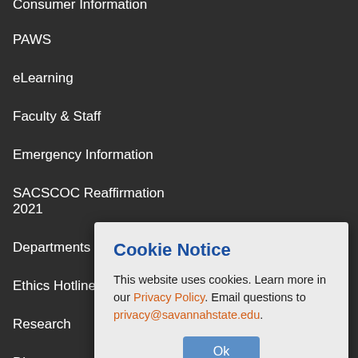Consumer Information
PAWS
eLearning
Faculty & Staff
Emergency Information
SACSCOC Reaffirmation 2021
Departments a…
Ethics Hotline…
Research
Directory
Cookie Notice
This website uses cookies. Learn more in our Privacy Policy. Email questions to privacy@savannahstate.edu.